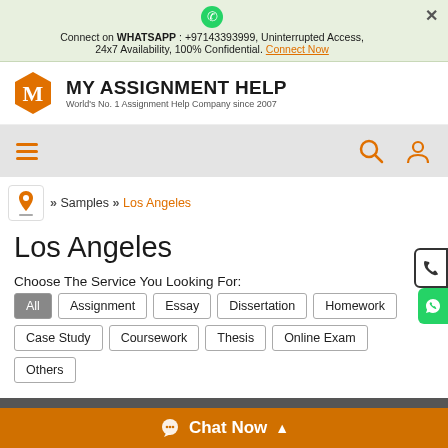Connect on WHATSAPP : +97143393999, Uninterrupted Access, 24x7 Availability, 100% Confidential. Connect Now
[Figure (logo): MY ASSIGNMENT HELP logo with orange hexagon M icon. World's No. 1 Assignment Help Company since 2007]
[Figure (screenshot): Navigation bar with hamburger menu icon in orange, search icon and user icon on right]
» Samples » Los Angeles
Los Angeles
Choose The Service You Looking For:
All
Assignment
Essay
Dissertation
Homework
Case Study
Coursework
Thesis
Online Exam
Others
Choose The Level You Are Looking For:
All
High school
Diploma
Undergraduate/College
Chat Now